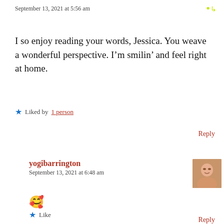September 13, 2021 at 5:56 am
I so enjoy reading your words, Jessica. You weave a wonderful perspective. I’m smilin’ and feel right at home.
★ Liked by 1 person
Reply
yogibarrington
September 13, 2021 at 6:48 am
[Figure (illustration): Avatar photo of yogibarrington commenter]
🥰
★ Like
Reply